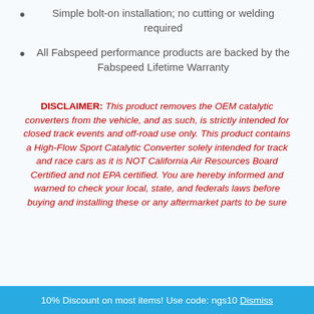Simple bolt-on installation; no cutting or welding required
All Fabspeed performance products are backed by the Fabspeed Lifetime Warranty
DISCLAIMER: This product removes the OEM catalytic converters from the vehicle, and as such, is strictly intended for closed track events and off-road use only. This product contains a High-Flow Sport Catalytic Converter solely intended for track and race cars as it is NOT California Air Resources Board Certified and not EPA certified. You are hereby informed and warned to check your local, state, and federals laws before buying and installing these or any aftermarket parts to be sure
10% Discount on most items! Use code: ngs10 Dismiss